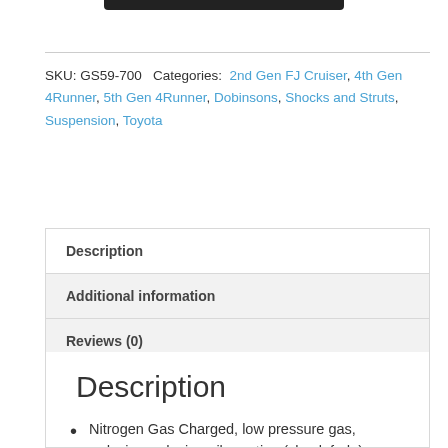[Figure (other): Black partial bar/image at the top of the page]
SKU: GS59-700 Categories: 2nd Gen FJ Cruiser, 4th Gen 4Runner, 5th Gen 4Runner, Dobinsons, Shocks and Struts, Suspension, Toyota
Description
Additional information
Reviews (0)
Description
Nitrogen Gas Charged, low pressure gas, reducing reducing oil aeration (shock fade)